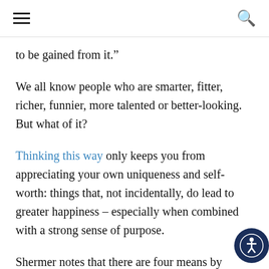[hamburger menu] [search icon]
to be gained from it.”
We all know people who are smarter, fitter, richer, funnier, more talented or better-looking. But what of it?
Thinking this way only keeps you from appreciating your own uniqueness and self-worth: things that, not incidentally, do lead to greater happiness – especially when combined with a strong sense of purpose.
Shermer notes that there are four means by which we can bootstrap ourselves away from envy and